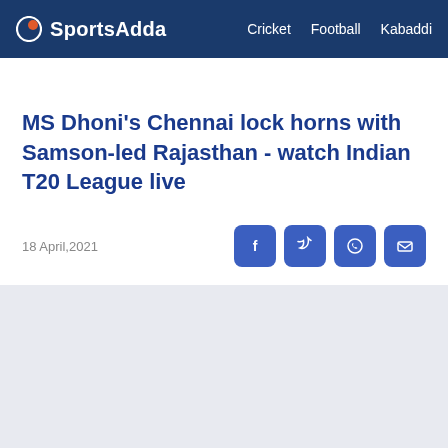SportsAdda   Cricket   Football   Kabaddi
MS Dhoni's Chennai lock horns with Samson-led Rajasthan - watch Indian T20 League live
18 April,2021
[Figure (other): Light gray image placeholder rectangle below the article header]